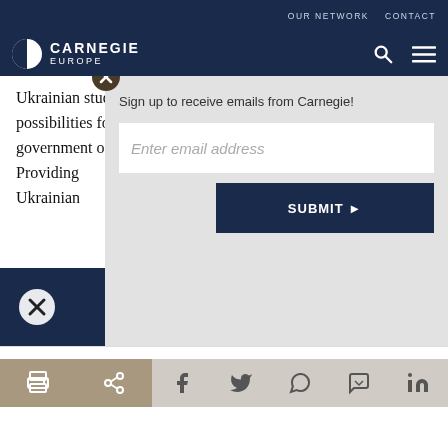OUR NETWORK   CONTACT
[Figure (logo): Carnegie Europe logo — circular half-dark half-light icon with CARNEGIE EUROPE text, search icon, and hamburger menu]
Ukrainian students of all levels and increasing the number of possibilities for professional training and exchanges beyond government officials coupled with support for ... Providing ... Ukrainian ...
[Figure (screenshot): Email signup modal overlay: 'Sign up to receive emails from Carnegie!' with email input field and SUBMIT button]
Print, share, Facebook, Twitter, WhatsApp, Messenger, LinkedIn icons toolbar